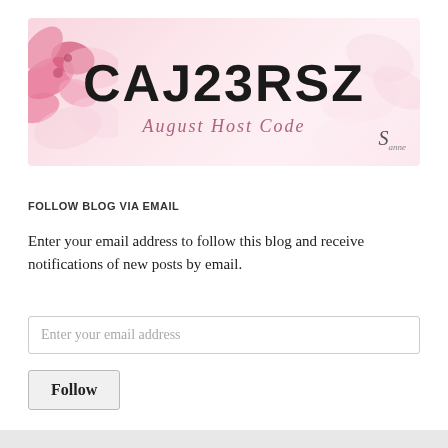[Figure (illustration): Banner image with pink floral watercolor background showing large text 'CAJ23RSZ' in bold black letters, subtitle 'August Host Code' in pink cursive script, and a small logo/signature at the bottom right.]
FOLLOW BLOG VIA EMAIL
Enter your email address to follow this blog and receive notifications of new posts by email.
Enter your email address
Follow